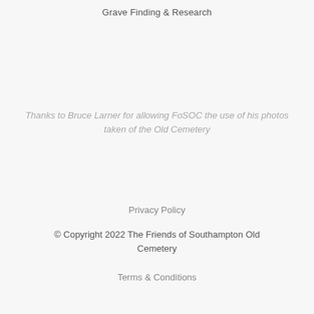Grave Finding & Research
Thanks to Bruce Larner for allowing FoSOC the use of his photos taken of the Old Cemetery
Privacy Policy
© Copyright 2022 The Friends of Southampton Old Cemetery
Terms & Conditions